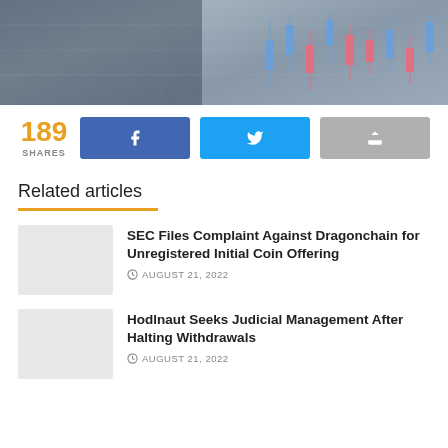[Figure (photo): Hero banner image showing financial/stock market candlestick chart on dark background]
189 SHARES
[Figure (other): Facebook share button with f icon]
[Figure (other): Twitter share button with bird icon]
[Figure (other): Generic share/forward button]
Related articles
[Figure (photo): Thumbnail placeholder for SEC Dragonchain article]
SEC Files Complaint Against Dragonchain for Unregistered Initial Coin Offering
AUGUST 21, 2022
[Figure (photo): Thumbnail placeholder for Hodlnaut article]
Hodlnaut Seeks Judicial Management After Halting Withdrawals
AUGUST 21, 2022